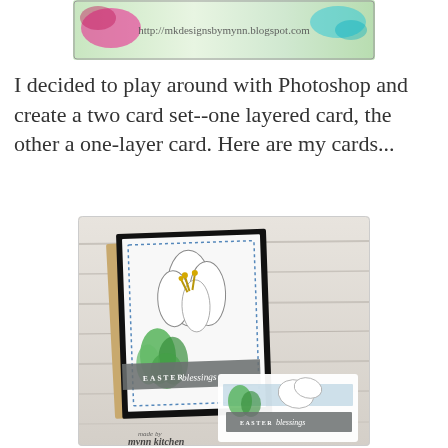[Figure (photo): Blog header image for mkdesignsbymynn.blogspot.com with colorful floral/ink splash design and URL text]
I decided to play around with Photoshop and create a two card set--one layered card, the other a one-layer card. Here are my cards...
[Figure (photo): Two handmade Easter cards featuring lily flower stamps with green watercolor leaves and gray banner reading 'EASTER blessings' in white text. One card is a layered card propped against wood background, the other a one-layer card. Watermark reads 'made by mynn kitchen for KiKDesigns'.]